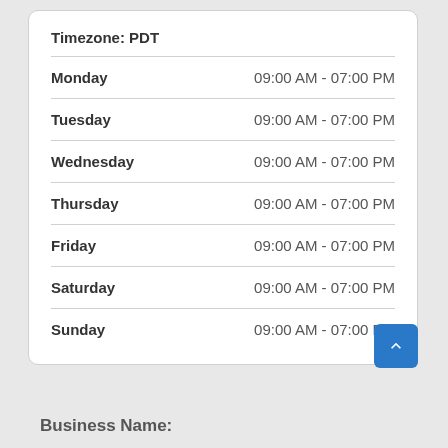| Day | Hours |
| --- | --- |
| Timezone: PDT |  |
| Monday | 09:00 AM - 07:00 PM |
| Tuesday | 09:00 AM - 07:00 PM |
| Wednesday | 09:00 AM - 07:00 PM |
| Thursday | 09:00 AM - 07:00 PM |
| Friday | 09:00 AM - 07:00 PM |
| Saturday | 09:00 AM - 07:00 PM |
| Sunday | 09:00 AM - 07:00 PM |
Business Name: